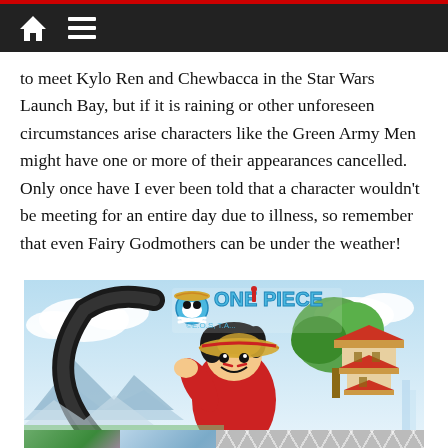Navigation bar with home and menu icons
to meet Kylo Ren and Chewbacca in the Star Wars Launch Bay, but if it is raining or other unforeseen circumstances arise characters like the Green Army Men might have one or more of their appearances cancelled. Only once have I ever been told that a character wouldn’t be meeting for an entire day due to illness, so remember that even Fairy Godmothers can be under the weather!
[Figure (illustration): One Piece anime promotional image featuring Monkey D. Luffy in a red kimono with a straw hat, shown in front of a pagoda/Japanese castle backdrop with the One Piece logo visible. Below are two smaller thumbnail images and a grey diamond/cube pattern.]